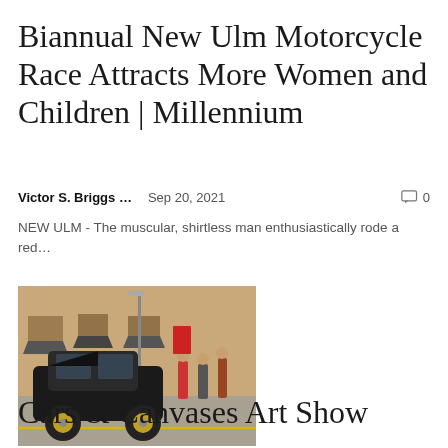Biannual New Ulm Motorcycle Race Attracts More Women and Children | Millennium
Victor S. Briggs ...   Sep 20, 2021   🗨 0
NEW ULM - The muscular, shirtless man enthusiastically rode a red...
[Figure (photo): Street scene showing a black vintage car with its hood open parked on a street, with people walking around it and brick buildings in the background.]
Cars & Canvases Art Show